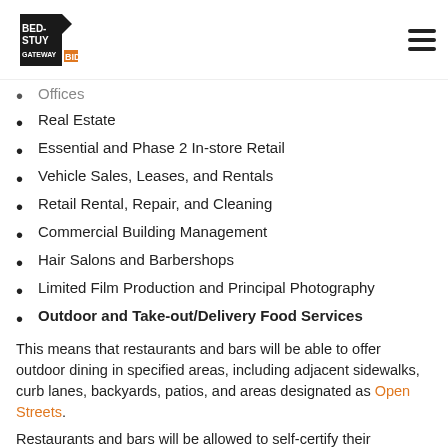Bed-Stuy Gateway BID
Offices (partial, cut off at top)
Real Estate
Essential and Phase 2 In-store Retail
Vehicle Sales, Leases, and Rentals
Retail Rental, Repair, and Cleaning
Commercial Building Management
Hair Salons and Barbershops
Limited Film Production and Principal Photography
Outdoor and Take-out/Delivery Food Services
This means that restaurants and bars will be able to offer outdoor dining in specified areas, including adjacent sidewalks, curb lanes, backyards, patios, and areas designated as Open Streets.
Restaurants and bars will be allowed to self-certify their